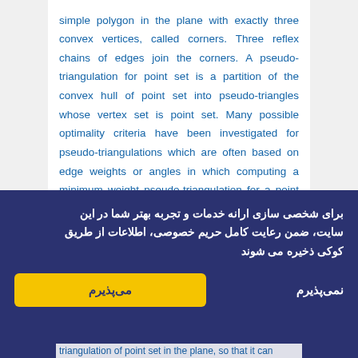simple polygon in the plane with exactly three convex vertices, called corners. Three reflex chains of edges join the corners. A pseudo-triangulation for point set is a partition of the convex hull of point set into pseudo-triangles whose vertex set is point set. Many possible optimality criteria have been investigated for pseudo-triangulations which are often based on edge weights or angles in which computing a minimum weight pseudo-triangulation for a point set is among the open problems. A pseudo-triangulation is called minimum if it consists of exactly n-2 pseudo-triangles and the minimum
برای شخصی سازی ارانه خدمات و تجربه بهتر شما در این سایت، ضمن رعایت کامل حریم خصوصی، اطلاعات از طریق کوکی ذخیره می شوند
می‌پذیرم
نمی‌پذیرم
triangulation of point set in the plane, so that it can